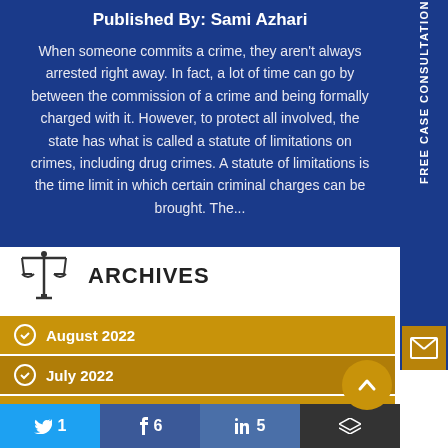Published By: Sami Azhari
When someone commits a crime, they aren't always arrested right away. In fact, a lot of time can go by between the commission of a crime and being formally charged with it. However, to protect all involved, the state has what is called a statute of limitations on crimes, including drug crimes. A statute of limitations is the time limit in which certain criminal charges can be brought. The...
ARCHIVES
August 2022
July 2022
June 2022
FREE CASE CONSULTATION